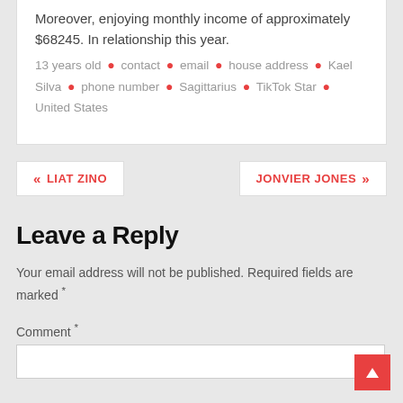Moreover, enjoying monthly income of approximately $68245. In relationship this year.
13 years old • contact • email • house address • Kael Silva • phone number • Sagittarius • TikTok Star • United States
« LIAT ZINO
JONVIER JONES »
Leave a Reply
Your email address will not be published. Required fields are marked *
Comment *